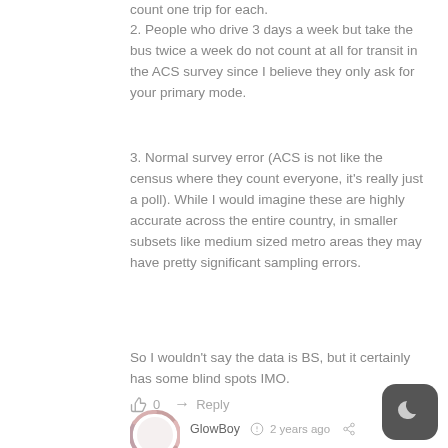count one trip for each.
2. People who drive 3 days a week but take the bus twice a week do not count at all for transit in the ACS survey since I believe they only ask for your primary mode.
3. Normal survey error (ACS is not like the census where they count everyone, it’s really just a poll). While I would imagine these are highly accurate across the entire country, in smaller subsets like medium sized metro areas they may have pretty significant sampling errors.
So I wouldn’t say the data is BS, but it certainly has some blind spots IMO.
0  Reply
[Figure (illustration): User avatar circle icon with decorative border]
GlowBoy  2 years ago
[Figure (illustration): Dark mode toggle button with crescent moon icon]